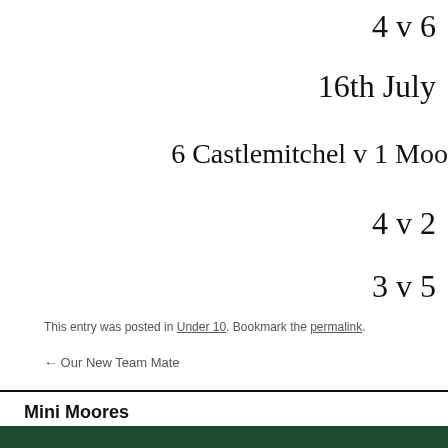4 v 6
16th July
6 Castlemitchel v 1 Moo
4 v 2
3 v 5
This entry was posted in Under 10. Bookmark the permalink.
← Our New Team Mate
Mini Moores